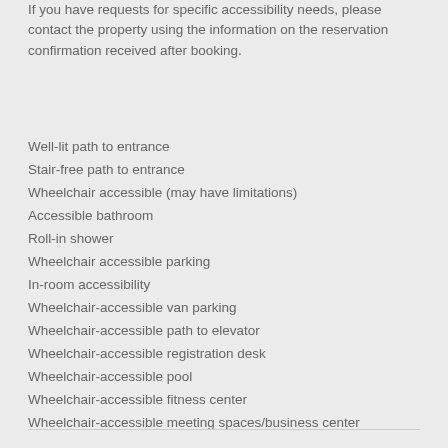If you have requests for specific accessibility needs, please contact the property using the information on the reservation confirmation received after booking.
Well-lit path to entrance
Stair-free path to entrance
Wheelchair accessible (may have limitations)
Accessible bathroom
Roll-in shower
Wheelchair accessible parking
In-room accessibility
Wheelchair-accessible van parking
Wheelchair-accessible path to elevator
Wheelchair-accessible registration desk
Wheelchair-accessible pool
Wheelchair-accessible fitness center
Wheelchair-accessible meeting spaces/business center